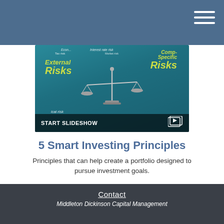[Figure (screenshot): Slideshow thumbnail showing a tablet/phone screen displaying a financial risk graphic with scales balancing 'External Risks' and 'Company Specific Risks', with a 'START SLIDESHOW' button overlay at the bottom]
5 Smart Investing Principles
Principles that can help create a portfolio designed to pursue investment goals.
Contact
Middleton Dickinson Capital Management